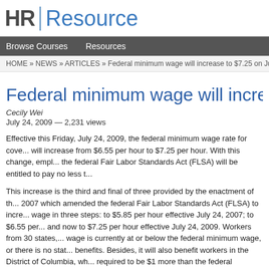HR Resource
Browse Courses   Resources
HOME » NEWS » ARTICLES » Federal minimum wage will increase to $7.25 on July 24
Federal minimum wage will increa...
Cecily Wei
July 24, 2009 — 2,231 views
Effective this Friday, July 24, 2009, the federal minimum wage rate for covered employees will increase from $6.55 per hour to $7.25 per hour. With this change, employers covered by the federal Fair Labor Standards Act (FLSA) will be entitled to pay no less than...
This increase is the third and final of three provided by the enactment of the... 2007 which amended the federal Fair Labor Standards Act (FLSA) to increase the minimum wage in three steps: to $5.85 per hour effective July 24, 2007; to $6.55 per hour... and now to $7.25 per hour effective July 24, 2009. Workers from 30 states, whose minimum wage is currently at or below the federal minimum wage, or there is no state minimum wage, benefits. Besides, it will also benefit workers in the District of Columbia, whose minimum wage is required to be $1 more than the federal minimum wage. Covered employers in states that have a minimum wage rate that is higher than the federal rate, must comply with that state's laws.